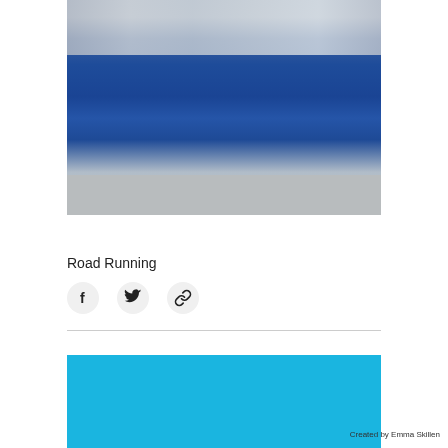[Figure (photo): Blurred photograph showing runners or athletes at a road running event, with blue banners/barriers in the background and a grey road surface at the bottom.]
Road Running
[Figure (infographic): Three social share buttons: Facebook (f icon), Twitter (bird icon), and link/chain icon, each in a circular grey button.]
[Figure (other): Solid cyan/light blue rectangle forming a footer block.]
Created by Emma Skillen